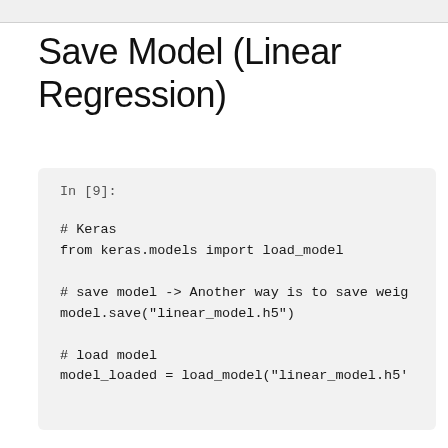Save Model (Linear Regression)
In [9]:

# Keras
from keras.models import load_model

# save model -> Another way is to save weig
model.save("linear_model.h5")

# load model
model_loaded = load_model("linear_model.h5'